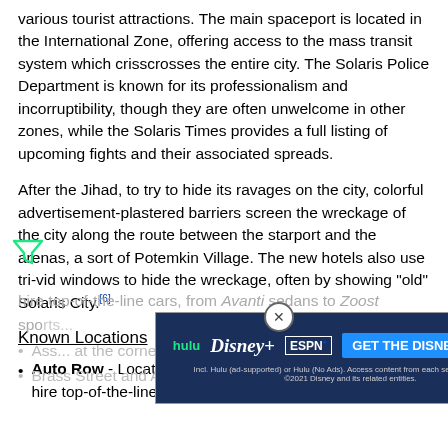various tourist attractions. The main spaceport is located in the International Zone, offering access to the mass transit system which crisscrosses the entire city. The Solaris Police Department is known for its professionalism and incorruptibility, though they are often unwelcome in other zones, while the Solaris Times provides a full listing of upcoming fights and their associated spreads.
After the Jihad, to try to hide its ravages on the city, colorful advertisement-plastered barriers screen the wreckage of the city along the route between the starport and the arenas, a sort of Potemkin Village. The new hotels also use tri-vid windows to hide the wreckage, often by showing "old" Solaris City.[6]
Known Locations
Auto Row - Located next to Hotel Row this is the place to hire top-of-the-line cars, from Avanti sedans to Zoost sports...
Ass... at the corner of Brass Street and Acton Street [8] this is the location...
Brass Street and Acton Street [8] this is the location...
[Figure (screenshot): Advertisement banner for Disney Bundle (Hulu, Disney+, ESPN+) with 'GET THE DISNEY BUNDLE' call to action on blue background, with close button.]